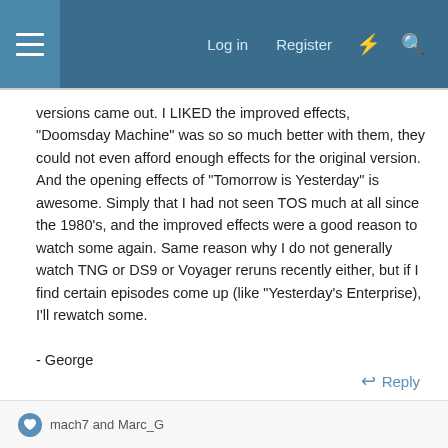Log in  Register
versions came out. I LIKED the improved effects, "Doomsday Machine" was so so much better with them, they could not even afford enough effects for the original version. And the opening effects of "Tomorrow is Yesterday" is awesome. Simply that I had not seen TOS much at all since the 1980's, and the improved effects were a good reason to watch some again. Same reason why I do not generally watch TNG or DS9 or Voyager reruns recently either, but if I find certain episodes come up (like "Yesterday's Enterprise), I'll rewatch some.

- George
↩ Reply
mach7 and Marc_G